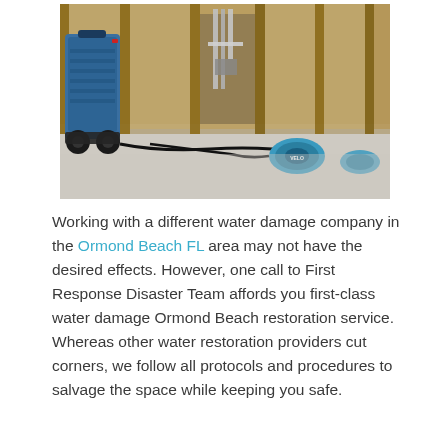[Figure (photo): Interior of a building under renovation or after water damage restoration. The floor is bare concrete. Wood wall studs are exposed with no drywall. Blue dehumidifier and air mover equipment are placed on the floor with a power cord running between them. Another blue piece of equipment is visible in the background on the right.]
Working with a different water damage company in the Ormond Beach FL area may not have the desired effects. However, one call to First Response Disaster Team affords you first-class water damage Ormond Beach restoration service.  Whereas other water restoration providers cut corners, we follow all protocols and procedures to salvage the space while keeping you safe.